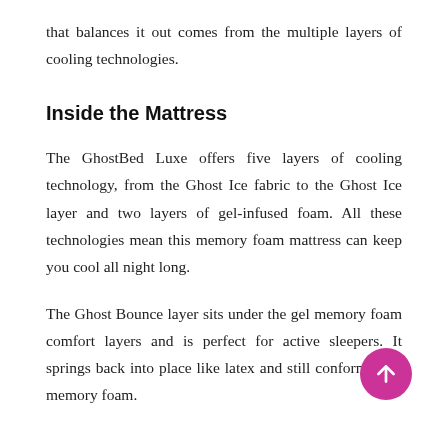that balances it out comes from the multiple layers of cooling technologies.
Inside the Mattress
The GhostBed Luxe offers five layers of cooling technology, from the Ghost Ice fabric to the Ghost Ice layer and two layers of gel-infused foam. All these technologies mean this memory foam mattress can keep you cool all night long.
The Ghost Bounce layer sits under the gel memory foam comfort layers and is perfect for active sleepers. It springs back into place like latex and still conforms like memory foam.